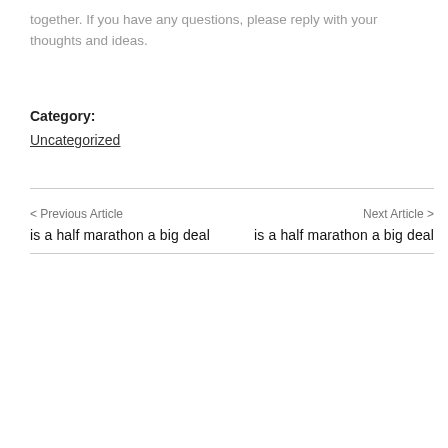together. If you have any questions, please reply with your thoughts and ideas.
Category: Uncategorized
< Previous Article
is a half marathon a big deal
Next Article >
is a half marathon a big deal